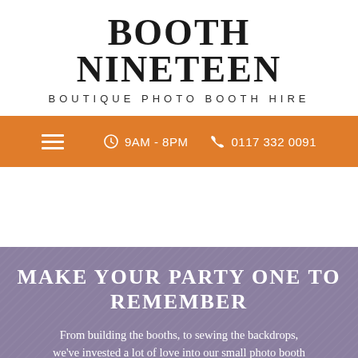BOOTH NINETEEN
BOUTIQUE PHOTO BOOTH HIRE
9AM - 8PM  0117 332 0091
[Figure (photo): White/blank hero image area]
MAKE YOUR PARTY ONE TO REMEMBER
From building the booths, to sewing the backdrops, we've invested a lot of love into our small photo booth